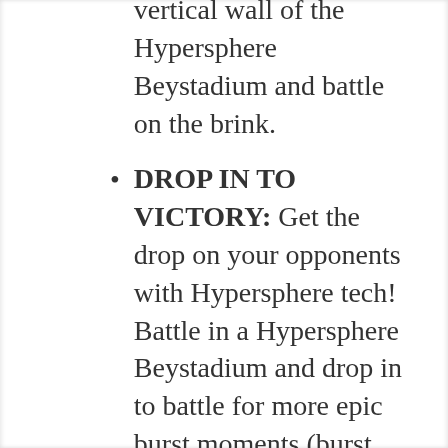CLIMB AND ATTACK: Climb the vertical wall of the Hypersphere Beystadium and battle on the brink.
DROP IN TO VICTORY: Get the drop on your opponents with Hypersphere tech! Battle in a Hypersphere Beystadium and drop in to battle for more epic burst moments (burst rates vary).